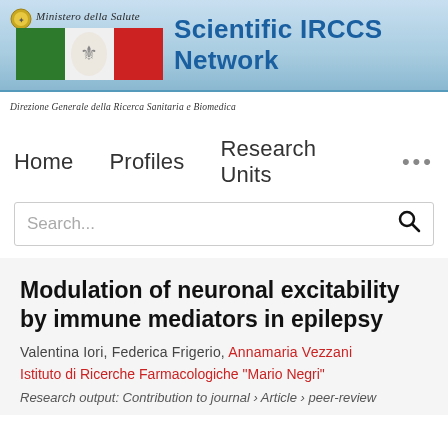[Figure (logo): Scientific IRCCS Network header banner with Italian Ministero della Salute logo, Italian flag imagery, and the text 'Scientific IRCCS Network' in blue on a light blue gradient background]
Direzione Generale della Ricerca Sanitaria e Biomedica
Home   Profiles   Research Units   ...
Search...
Modulation of neuronal excitability by immune mediators in epilepsy
Valentina Iori, Federica Frigerio, Annamaria Vezzani
Istituto di Ricerche Farmacologiche "Mario Negri"
Research output: Contribution to journal › Article › peer-review